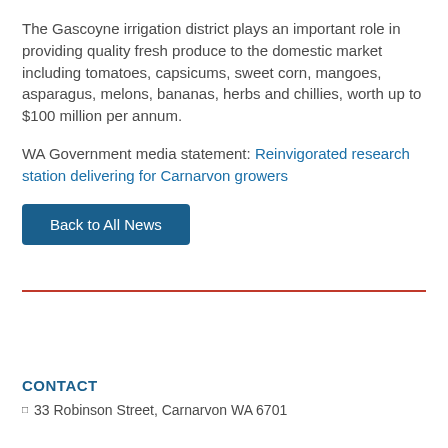The Gascoyne irrigation district plays an important role in providing quality fresh produce to the domestic market including tomatoes, capsicums, sweet corn, mangoes, asparagus, melons, bananas, herbs and chillies, worth up to $100 million per annum.
WA Government media statement: Reinvigorated research station delivering for Carnarvon growers
Back to All News
CONTACT
33 Robinson Street, Carnarvon WA 6701